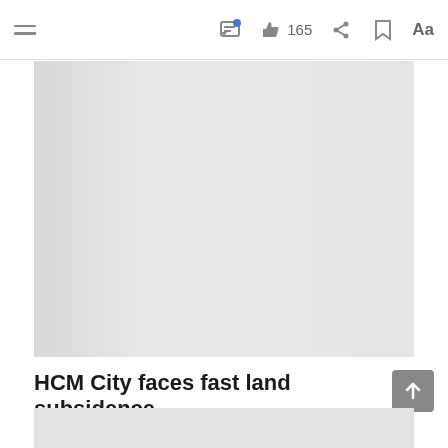HCM City faces fast land subsidence — NEWS
[Figure (photo): Large placeholder image in light gray, representing a photograph related to the article about HCM City land subsidence]
HCM City faces fast land subsidence
NEWS
[Figure (photo): Second partial placeholder image at the bottom of the page, light gray]